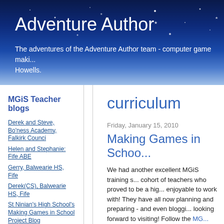Adventure Author
The adventures of the Adventure Author team - computer game maki... Howells.
MGiS Teacher blogs
Derek and Steve, Bo'ness Academy, Falkirk Counci
Helen and Stephanie: Fife ABE
Gerry, Balwearie HS, Fife
Derek(CS), Balwearie HS, Fife
St Ninian's High School's Making Games in School Project Blog
James Young High School
Hazel, Dalbeattie HS, Dumfries & Galloway
Kimberly & Susan, Pentalnd PS & Firrhill HS, Edinburgh:
curriculum
Friday, January 15, 2010
Making Games in Schoo...
We had another excellent MGiS training s... cohort of teachers who proved to be a hig... enjoyable to work with! They have all now planning and preparing - and even bloggi... looking forward to visiting! Follow the MG... developments with MGiS.

And I have had fun to date visiting the Co...